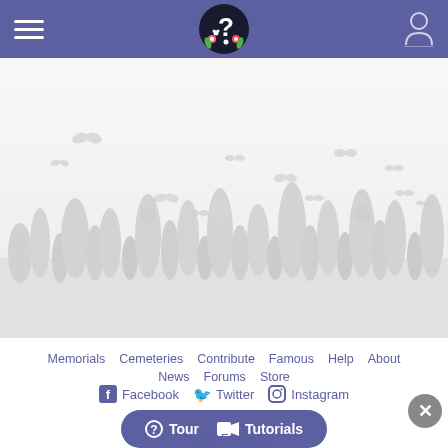FindAGrave website header with hamburger menu, logo, and user icon
[Figure (illustration): Light gray decorative background with butterflies, flowers, and grass silhouettes on a light gray/white background]
Memorials  Cemeteries  Contribute  Famous  Help  About  News  Forums  Store
Facebook  Twitter  Instagram
Tour  Tutorials
Website Feedback